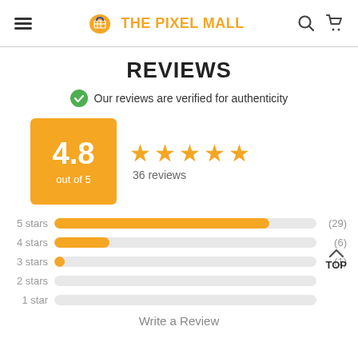THE PIXEL MALL
REVIEWS
Our reviews are verified for authenticity
[Figure (infographic): Rating score box showing 4.8 out of 5, with 5 orange stars and 36 reviews]
[Figure (bar-chart): Star rating distribution]
Write a Review